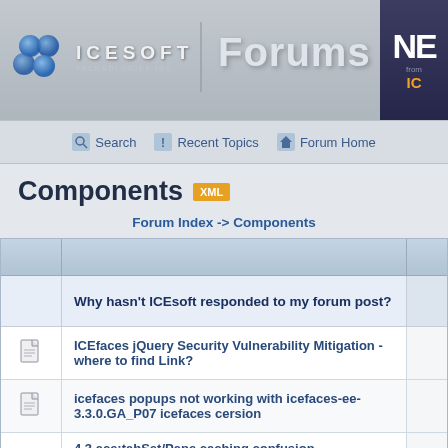[Figure (logo): ICEsoft Technologies Inc. logo with blue swoosh icon and Forums text header, with NE badge on right]
Search | Recent Topics | Forum Home
Components XML
Forum Index -> Components
|  | Topic |  |
| --- | --- | --- |
|  | Why hasn't ICEsoft responded to my forum post? |  |
| [icon] | ICEfaces jQuery Security Vulnerability Mitigation - where to find Link? |  |
| [icon] | icefaces popups not working with icefaces-ee-3.3.0.GA_P07 icefaces cersion |  |
| [icon] | 4.3 ace:tabSet/Pane caching confusion - DataTableLazyLoading.load() always called when switching bet |  |
| [icon] | ace:dataexporter creates blank pdf files |  |